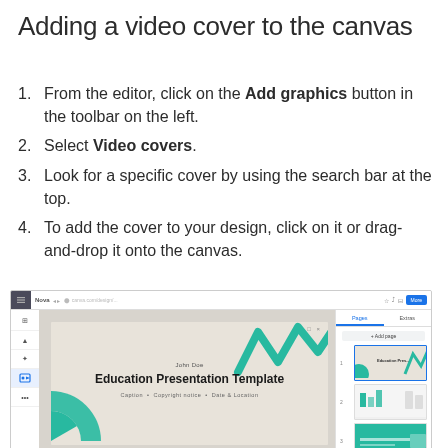Adding a video cover to the canvas
From the editor, click on the Add graphics button in the toolbar on the left.
Select Video covers.
Look for a specific cover by using the search bar at the top.
To add the cover to your design, click on it or drag-and-drop it onto the canvas.
[Figure (screenshot): Screenshot of a graphic design editor showing a canvas with an Education Presentation Template, featuring a teal zigzag decoration, a teal pie chart element, and a right panel with page thumbnails.]